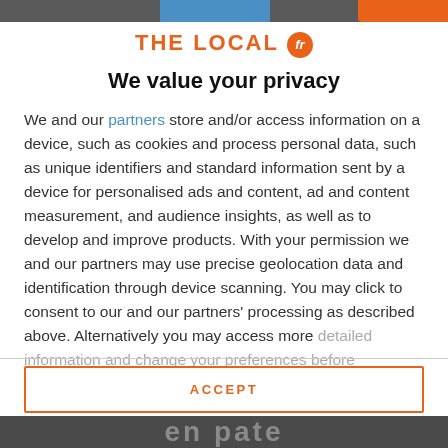[Figure (logo): The Local FR logo — orange text 'THE LOCAL' with an orange circle containing 'fr']
We value your privacy
We and our partners store and/or access information on a device, such as cookies and process personal data, such as unique identifiers and standard information sent by a device for personalised ads and content, ad and content measurement, and audience insights, as well as to develop and improve products. With your permission we and our partners may use precise geolocation data and identification through device scanning. You may click to consent to our and our partners' processing as described above. Alternatively you may access more detailed information and change your preferences before consenting
ACCEPT
MORE OPTIONS